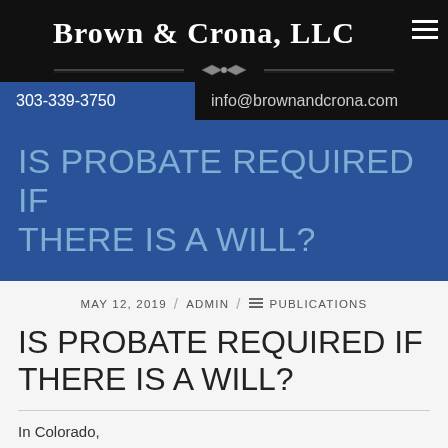Brown & Crona, LLC
303-339-3750   info@brownandcrona.com
IS PROBATE REQUIRED IF THERE IS A WILL?
MAY 12, 2019  /  ADMIN  /  PUBLICATIONS
IS PROBATE REQUIRED IF THERE IS A WILL?
In Colorado,